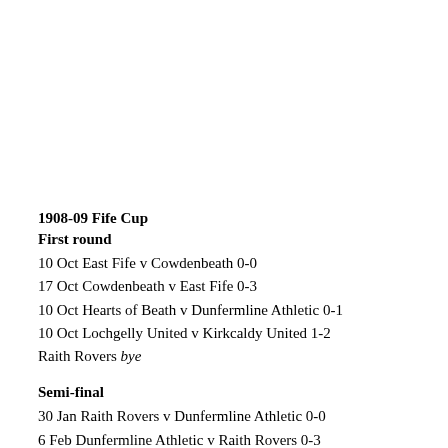1908-09 Fife Cup
First round
10 Oct East Fife v Cowdenbeath 0-0
17 Oct Cowdenbeath v East Fife 0-3
10 Oct Hearts of Beath v Dunfermline Athletic 0-1
10 Oct Lochgelly United v Kirkcaldy United 1-2
Raith Rovers bye
Semi-final
30 Jan Raith Rovers v Dunfermline Athletic 0-0
6 Feb Dunfermline Athletic v Raith Rovers 0-3
6 Feb Kirkcaldy United v East Fife 1-3
Final at North End Park, Cowdenbeath
24 Apr Raith Rovers v East Fife 3-0